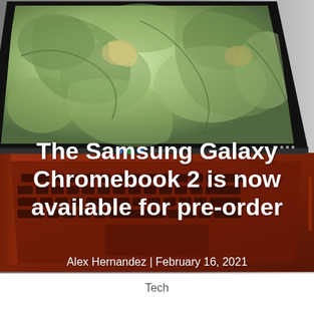[Figure (photo): Samsung Galaxy Chromebook 2 laptop in red/orange color, open at an angle showing the keyboard and display with a green/earth satellite image on screen. Background fades to grey on the right side.]
The Samsung Galaxy Chromebook 2 is now available for pre-order
Alex Hernandez | February 16, 2021
Tech